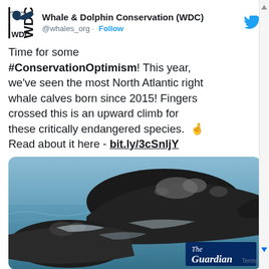[Figure (screenshot): WDC logo — stylized whale shape with 'WDC' text and 'whales.org' above]
Whale & Dolphin Conservation (WDC) @whales_org · Follow
Time for some #ConservationOptimism! This year, we've seen the most North Atlantic right whale calves born since 2015! Fingers crossed this is an upward climb for these critically endangered species. 🤞 Read about it here - bit.ly/3cSnljY
[Figure (photo): Close-up photograph of North Atlantic right whales surfacing in blue-grey ocean water. The Guardian logo badge is overlaid in the bottom-right corner.]